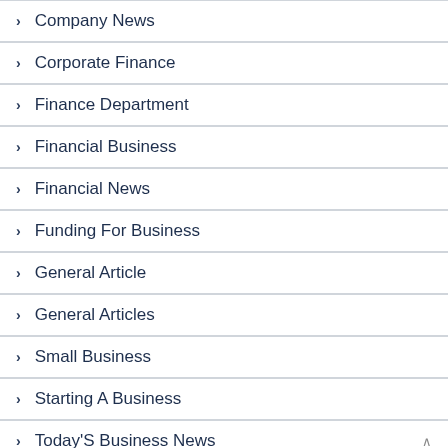Company News
Corporate Finance
Finance Department
Financial Business
Financial News
Funding For Business
General Article
General Articles
Small Business
Starting A Business
Today'S Business News
Travel